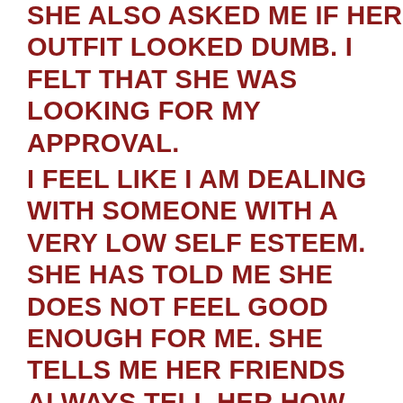SHE ALSO ASKED ME IF HER OUTFIT LOOKED DUMB. I FELT THAT SHE WAS LOOKING FOR MY APPROVAL.
I FEEL LIKE I AM DEALING WITH SOMEONE WITH A VERY LOW SELF ESTEEM. SHE HAS TOLD ME SHE DOES NOT FEEL GOOD ENOUGH FOR ME. SHE TELLS ME HER FRIENDS ALWAYS TELL HER HOW HOT I AM.
I COULD HAVE A LOT OF WOMEN AND SHE KNOWS THAT.
SO, THE CHARISMA AND CONFIDENCE THING IS NOT AN ISSUE. BUT, I DO HAVE A HISTORY OF BEING TOO NICE. THE GUY SHE CHEATED WITH IS